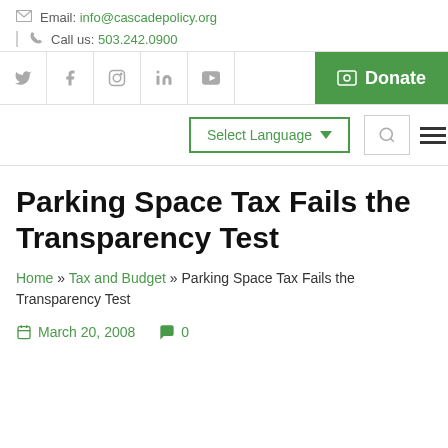Email: info@cascadepolicy.org
Call us: 503.242.0900
[Figure (other): Social media icons bar (Twitter, Facebook, Instagram, LinkedIn, YouTube) and a green Donate button]
[Figure (other): Navigation bar with Select Language dropdown, search icon, and hamburger menu icon]
Parking Space Tax Fails the Transparency Test
Home » Tax and Budget » Parking Space Tax Fails the Transparency Test
March 20, 2008   0